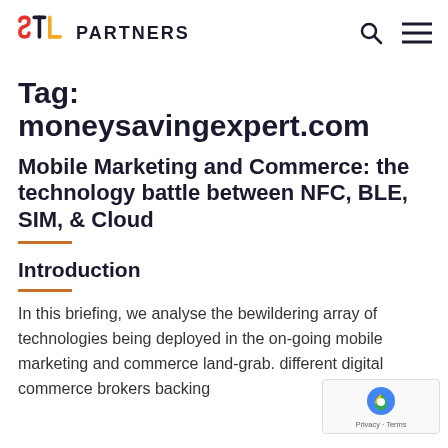STL PARTNERS
Tag: moneysavingexpert.com
Mobile Marketing and Commerce: the technology battle between NFC, BLE, SIM, & Cloud
Introduction
In this briefing, we analyse the bewildering array of technologies being deployed in the on-going mobile marketing and commerce land-grab. different digital commerce brokers backing